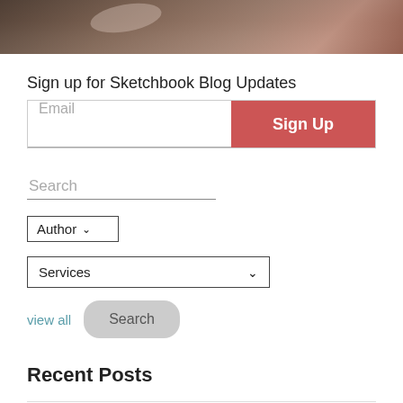[Figure (photo): Partial photo of hands or objects on a desk/sketchbook, blurred, reddish-brown tones at the top of the page]
Sign up for Sketchbook Blog Updates
Email
Sign Up
Search
Author
Services
view all
Search
Recent Posts